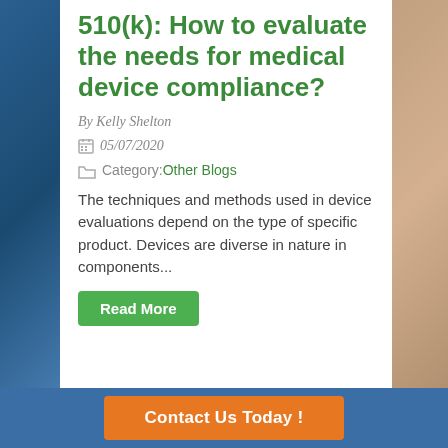510(k): How to evaluate the needs for medical device compliance?
By Kelly Shelton
05/07/2020
Category: Other Blogs
The techniques and methods used in device evaluations depend on the type of specific product. Devices are diverse in nature in components...
Read More
Contact Us Today !